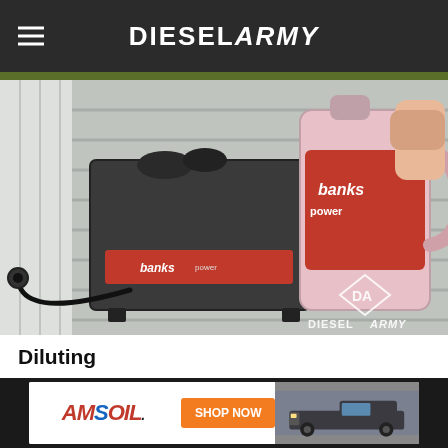DIESEL ARMY
[Figure (photo): A person pouring Banks Power water injection fluid (pink liquid in a large jug labeled 'Banks Power') into a Banks Power water injection tank mounted in a truck bed. The DieselArmy logo watermark is visible in the lower right corner.]
Diluting
Banks Power recommends using distilled water if you plan on using a straight water injection. If you are
[Figure (screenshot): AMSOIL advertisement banner with logo, 'SHOP NOW' button, and a truck image on dark background.]